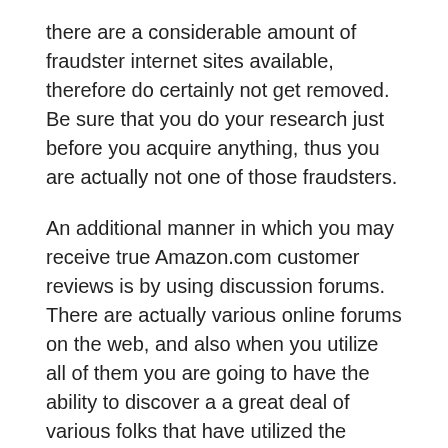there are a considerable amount of fraudster internet sites available, therefore do certainly not get removed. Be sure that you do your research just before you acquire anything, thus you are actually not one of those fraudsters.
An additional manner in which you may receive true Amazon.com customer reviews is by using discussion forums. There are actually various online forums on the web, and also when you utilize all of them you are going to have the ability to discover a a great deal of various folks that have utilized the product in the past. If they leave behind good reviews concerning the product then you are going to have the ability to obtain a tip of the top quality of the product, however if you locate much more bad customer reviews than positive then you will have a concept of how to choose a better item.